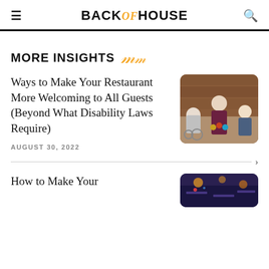BACKOFHOUSE
MORE INSIGHTS
Ways to Make Your Restaurant More Welcoming to All Guests (Beyond What Disability Laws Require)
AUGUST 30, 2022
[Figure (photo): Three people toasting drinks, one person in a wheelchair, outdoors against a wooden wall background]
How to Make Your